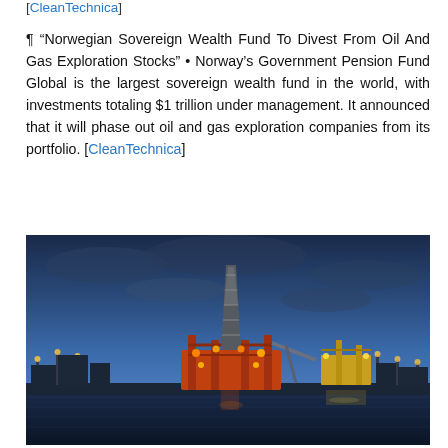[CleanTechnica]
¶ “Norwegian Sovereign Wealth Fund To Divest From Oil And Gas Exploration Stocks” • Norway’s Government Pension Fund Global is the largest sovereign wealth fund in the world, with investments totaling $1 trillion under management. It announced that it will phase out oil and gas exploration companies from its portfolio. [CleanTechnica]
[Figure (photo): An oil drilling rig lit up at night on a harbor waterfront, with a twilight blue sky in the background and orange lights illuminating the rig structure.]